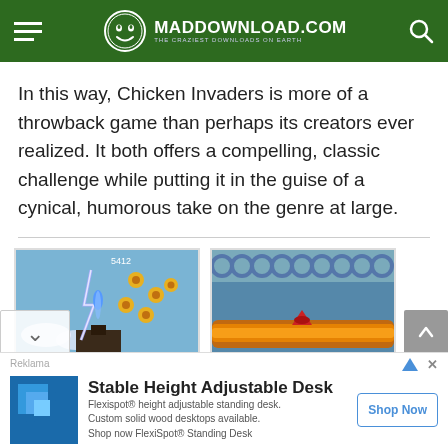MADDOWNLOAD.COM — THE CRAZIEST DOWNLOADS ON EARTH
In this way, Chicken Invaders is more of a throwback game than perhaps its creators ever realized. It both offers a compelling, classic challenge while putting it in the guise of a cynical, humorous take on the genre at large.
[Figure (screenshot): Screenshot of Chicken Invaders game showing a spaceship firing with lightning effects and chicken enemies]
[Figure (screenshot): Screenshot of Chicken Invaders game showing a spaceship with fiery beam attack and circular enemies]
[Figure (advertisement): Ad for Stable Height Adjustable Desk by Flexispot with logo, description, and Shop Now button]